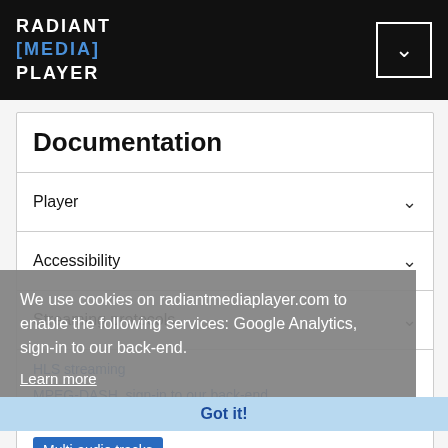RADIANT [MEDIA] PLAYER
Documentation
Player
Accessibility
Streaming protocols
HLS streaming
MPEG-DASH, sign-in to our back-end.
Progressive download streaming
Multi-audio tracks
Fallback streaming URL
We use cookies on radiantmediaplayer.com to enable the following services: Google Analytics, sign-in to our back-end.
Learn more
Got it!